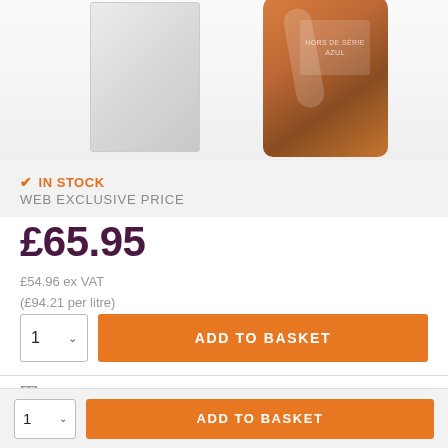[Figure (photo): Product photo: a bottle of amber/cognac liquid in a decorative glass bottle next to a white gift box, partial view cropped at top.]
✔ IN STOCK
WEB EXCLUSIVE PRICE
£65.95
£54.96 ex VAT
(£94.21 per litre)
ADD TO BASKET
MULTIBUY DEAL
ADD TO BASKET